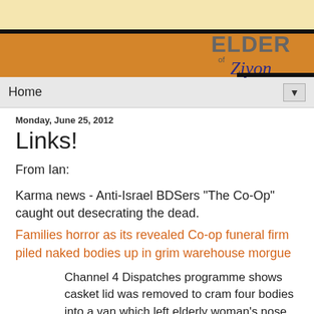[Figure (logo): Elder of Ziyon blog header with orange background and logo text]
Home ▼
Monday, June 25, 2012
Links!
From Ian:
Karma news - Anti-Israel BDSers "The Co-Op" caught out desecrating the dead.
Families horror as its revealed Co-op funeral firm piled naked bodies up in grim warehouse morgue
Channel 4 Dispatches programme shows casket lid was removed to cram four bodies into a van which left elderly woman's nose nearly touching roof
Horrific moment when the wrong body is